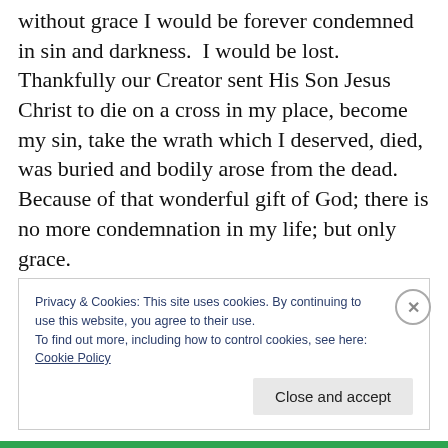without grace I would be forever condemned in sin and darkness.  I would be lost.  Thankfully our Creator sent His Son Jesus Christ to die on a cross in my place, become my sin, take the wrath which I deserved, died, was buried and bodily arose from the dead.  Because of that wonderful gift of God; there is no more condemnation in my life; but only grace.
My future is brighter, because of God's gift.  My future is assured, because of God's gift.  My
Privacy & Cookies: This site uses cookies. By continuing to use this website, you agree to their use.
To find out more, including how to control cookies, see here:
Cookie Policy